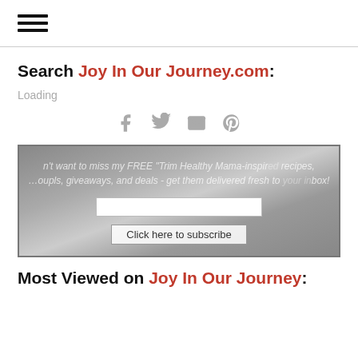[Figure (illustration): Hamburger menu icon with three horizontal lines]
Search Joy In Our Journey.com:
Loading
[Figure (infographic): Social share icons: Facebook, Twitter, Email, Pinterest]
[Figure (infographic): Newsletter subscription box with text: don't want to miss my FREE 'Trim Healthy Mama-inspire... recipes, ...oupls, giveaways, and deals - get them delivered fresh to ... inbox! with email input field and 'Click here to subscribe' button]
Most Viewed on Joy In Our Journey: